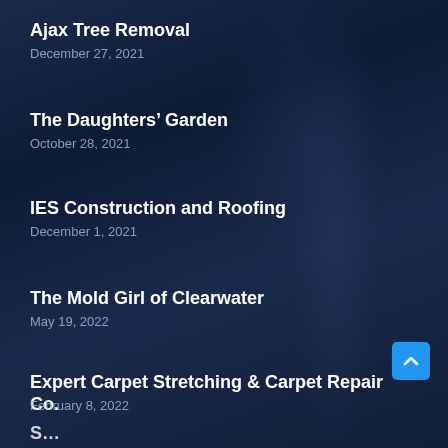Ajax Tree Removal
December 27, 2021
The Daughters’ Garden
October 28, 2021
IES Construction and Roofing
December 1, 2021
The Mold Girl of Clearwater
May 19, 2022
Expert Carpet Stretching & Carpet Repair Co.
February 8, 2022
S…